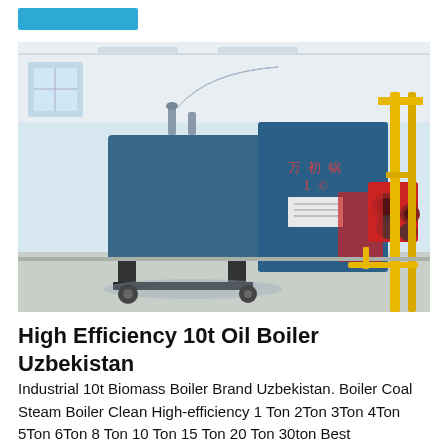[Figure (photo): Industrial steam boiler equipment in a factory setting. A large blue horizontal fire-tube boiler with red burner assembly is mounted on a frame. Yellow metal support structures and pipes are visible in the background. The facility has a white industrial interior with large windows.]
High Efficiency 10t Oil Boiler Uzbekistan
Industrial 10t Biomass Boiler Brand Uzbekistan. Boiler Coal Steam Boiler Clean High-efficiency 1 Ton 2Ton 3Ton 4Ton 5Ton 6Ton 8 Ton 10 Ton 15 Ton 20 Ton 30ton Best